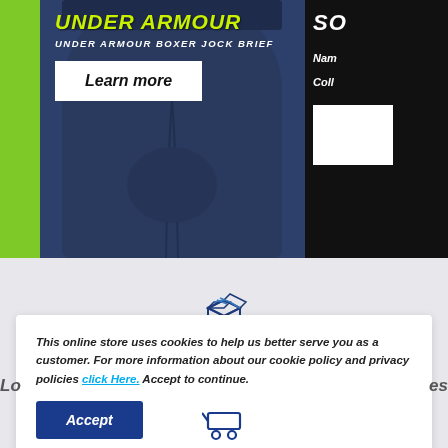[Figure (screenshot): Under Armour product banner showing navy blue boxer jock brief with lime green accent stripe. Brand name in italic bold lime/yellow text, product name in white italic text, and a white 'Learn more' button. Partially visible second product card on the right in black background.]
UNDER ARMOUR
UNDER ARMOUR BOXER JOCK BRIEF
Learn more
SO
Nam
Coll
[Figure (illustration): 3D box/package icon in navy blue outline style]
This online store uses cookies to help us better serve you as a customer. For more information about our cookie policy and privacy policies click Here. Accept to continue.
Accept
[Figure (illustration): Shopping cart icon in navy blue outline style at the bottom of the page]